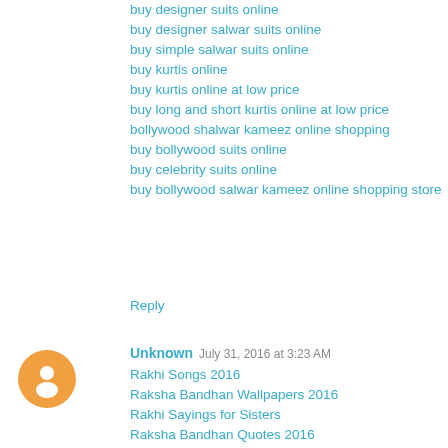buy designer suits online
buy designer salwar suits online
buy simple salwar suits online
buy kurtis online
buy kurtis online at low price
buy long and short kurtis online at low price
bollywood shalwar kameez online shopping
buy bollywood suits online
buy celebrity suits online
buy bollywood salwar kameez online shopping store
Reply
Unknown   July 31, 2016 at 3:23 AM
Rakhi Songs 2016
Raksha Bandhan Wallpapers 2016
Rakhi Sayings for Sisters
Raksha Bandhan Quotes 2016
Raksha Bandhan Wishes 2016
Raksha Bandhan Pictures 2016
Raksha Bandhan Facebook Cover Pic 2016